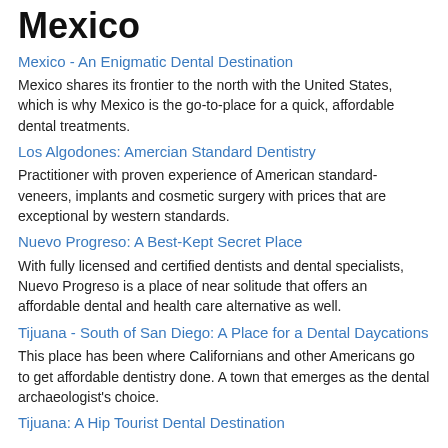Mexico
Mexico - An Enigmatic Dental Destination
Mexico shares its frontier to the north with the United States, which is why Mexico is the go-to-place for a quick, affordable dental treatments.
Los Algodones: Amercian Standard Dentistry
Practitioner with proven experience of American standard-veneers, implants and cosmetic surgery with prices that are exceptional by western standards.
Nuevo Progreso: A Best-Kept Secret Place
With fully licensed and certified dentists and dental specialists, Nuevo Progreso is a place of near solitude that offers an affordable dental and health care alternative as well.
Tijuana - South of San Diego: A Place for a Dental Daycations
This place has been where Californians and other Americans go to get affordable dentistry done. A town that emerges as the dental archaeologist's choice.
Tijuana: A Hip Tourist Dental Destination